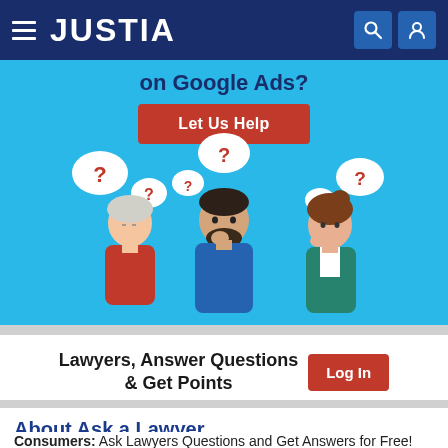JUSTIA
[Figure (illustration): Advertisement banner with cyan background showing text 'on Google Ads?' with a red 'Let Us Help' button and an illustration of three people (woman in red jacket, man in blue jacket, woman in green jacket) with thought bubbles containing red question marks.]
Lawyers, Answer Questions & Get Points  Log In
About Ask a Lawyer
Consumers: Ask Lawyers Questions and Get Answers for Free!